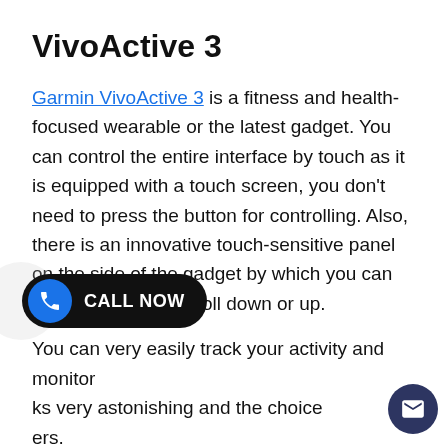VivoActive 3
Garmin VivoActive 3 is a fitness and health-focused wearable or the latest gadget. You can control the entire interface by touch as it is equipped with a touch screen, you don't need to press the button for controlling. Also, there is an innovative touch-sensitive panel on the side of the gadget by which you can easily swipe and scroll down or up.
You can very easily track your activity and monitor [...]ks very astonishing and the choice [...]ers.
Look What Happens If You